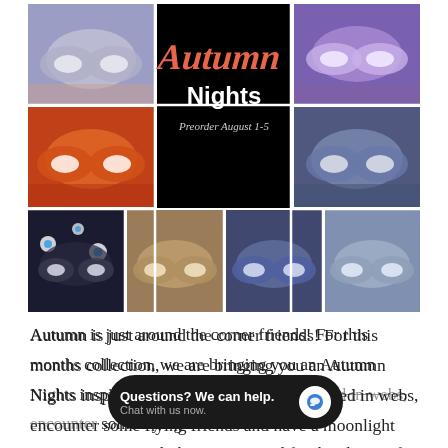[Figure (photo): Collage of 7 photos showing autumn-themed slipper/shoe designs held by hands, with a central black panel displaying 'Autumn Nights Preorder August 1-5' in decorative text. Slippers include patterns: grey floral, burnt orange, purple cosmic, dark eyeball print, brown/gold, dark blue floral, and light blue floral.]
Autumn is just around the corner friends! For this months collection, we are bringing you an Autumn Nights inspired collection. You will be tangled in webs, encounter some flying friends and have a moonlight kiss. Stay tuned for the photos of this fabulous collection. As always, we appreciate
Questions? We can help.
Chat with us now.